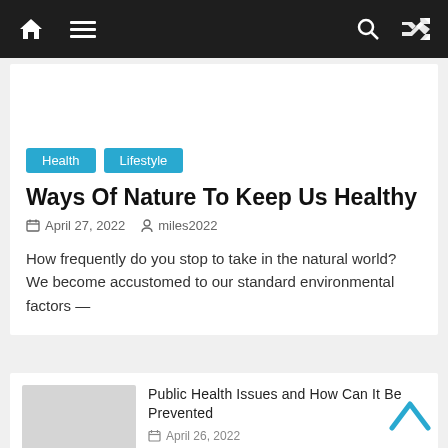Navigation bar with home, menu, search, and shuffle icons
Health   Lifestyle
Ways Of Nature To Keep Us Healthy
April 27, 2022   miles2022
How frequently do you stop to take in the natural world? We become accustomed to our standard environmental factors —
Public Health Issues and How Can It Be Prevented
April 26, 2022